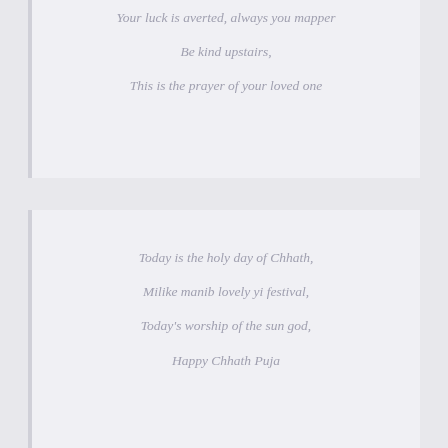Your luck is averted, always you mapper
Be kind upstairs,
This is the prayer of your loved one
Today is the holy day of Chhath,
Milike manib lovely yi festival,
Today's worship of the sun god,
Happy Chhath Puja